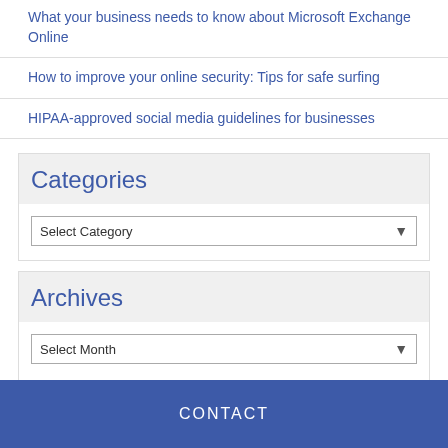What your business needs to know about Microsoft Exchange Online
How to improve your online security: Tips for safe surfing
HIPAA-approved social media guidelines for businesses
Categories
Select Category
Archives
Select Month
CONTACT